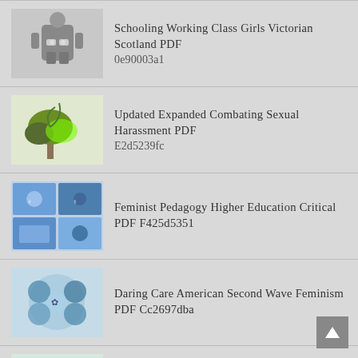Schooling Working Class Girls Victorian Scotland PDF 0e90003a1
Updated Expanded Combating Sexual Harassment PDF E2d5239fc
Feminist Pedagogy Higher Education Critical PDF F425d5351
Daring Care American Second Wave Feminism PDF Cc2697dba
Beyond Tiger Mom East West Parenting PDF 59c4321f1